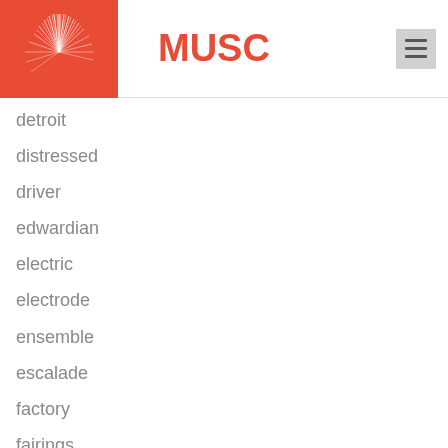[Figure (logo): MUSC logo with white starburst/feather design on red/orange background square]
MUSC
detroit
distressed
driver
edwardian
electric
electrode
ensemble
escalade
factory
fairings
finevery
fixture
fluorenscent